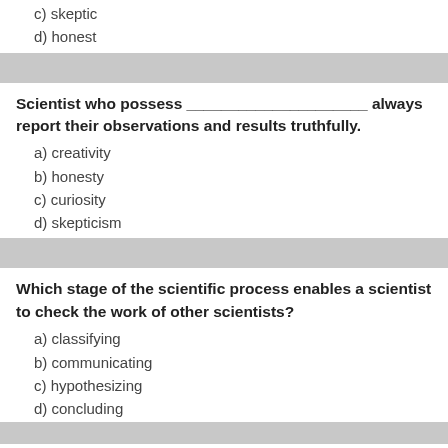c) skeptic
d) honest
Scientist who possess _____________________ always report their observations and results truthfully.
a) creativity
b) honesty
c) curiosity
d) skepticism
Which stage of the scientific process enables a scientist to check the work of other scientists?
a) classifying
b) communicating
c) hypothesizing
d) concluding